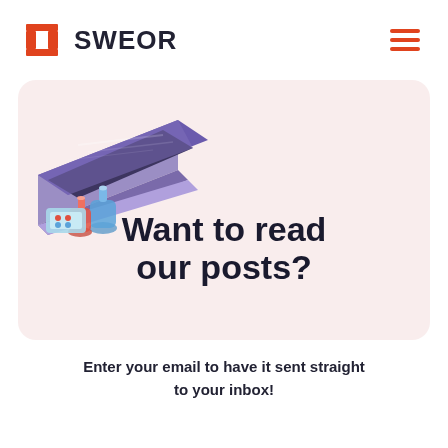SWEOR
[Figure (illustration): Isometric illustration of a laptop with laboratory flasks and scientific equipment on a light pink/lavender background card]
Want to read our posts?
Enter your email to have it sent straight to your inbox!